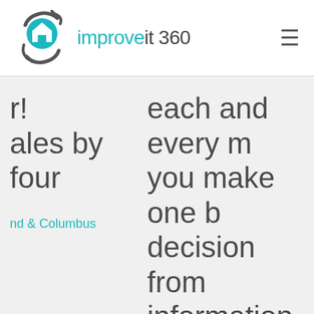improveit 360
r!
ales by
four
each and every m
you make one b
decision from
information you g
this system, if you
handful of new sal
you've probably p
your investme
nd & Columbus
Scott Dietz